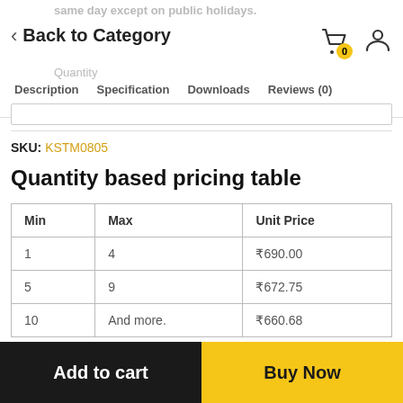same day except on public holidays.
← Back to Category
Description  Specification  Downloads  Reviews (0)
SKU: KSTM0805
Quantity based pricing table
| Min | Max | Unit Price |
| --- | --- | --- |
| 1 | 4 | ₹690.00 |
| 5 | 9 | ₹672.75 |
| 10 | And more. | ₹660.68 |
Add to cart    Buy Now